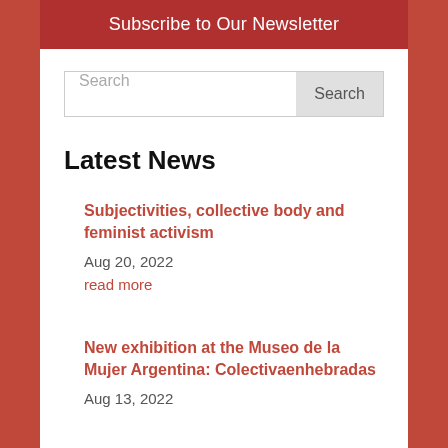Subscribe to Our Newsletter
Search
Latest News
Subjectivities, collective body and feminist activism
Aug 20, 2022
read more
New exhibition at the Museo de la Mujer Argentina: Colectivaenhebradas
Aug 13, 2022